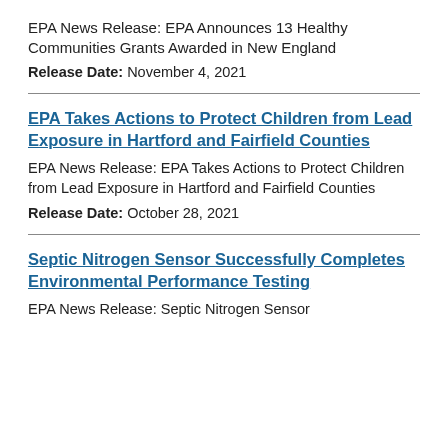EPA News Release: EPA Announces 13 Healthy Communities Grants Awarded in New England
Release Date: November 4, 2021
EPA Takes Actions to Protect Children from Lead Exposure in Hartford and Fairfield Counties
EPA News Release: EPA Takes Actions to Protect Children from Lead Exposure in Hartford and Fairfield Counties
Release Date: October 28, 2021
Septic Nitrogen Sensor Successfully Completes Environmental Performance Testing
EPA News Release: Septic Nitrogen Sensor